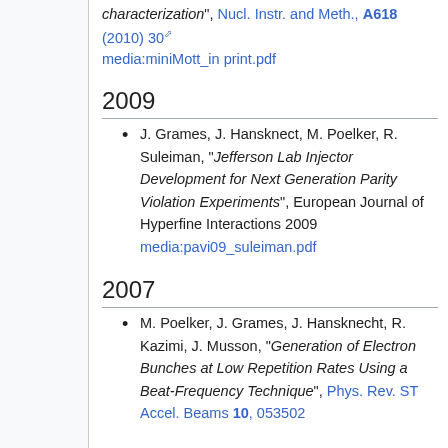characterization", Nucl. Instr. and Meth., A618 (2010) 30 media:miniMott_in print.pdf
2009
J. Grames, J. Hansknect, M. Poelker, R. Suleiman, "Jefferson Lab Injector Development for Next Generation Parity Violation Experiments", European Journal of Hyperfine Interactions 2009 media:pavi09_suleiman.pdf
2007
M. Poelker, J. Grames, J. Hansknecht, R. Kazimi, J. Musson, "Generation of Electron Bunches at Low Repetition Rates Using a Beat-Frequency Technique", Phys. Rev. ST Accel. Beams 10, 053502